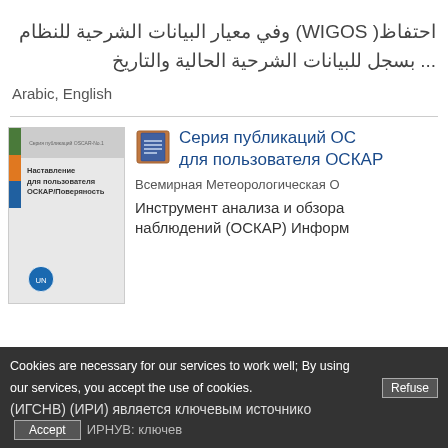احتفاظ( WIGOS) وفي معيار البيانات الشرحية للنظام ... بسجل للبيانات الشرحية الحالية والتاريخ
Arabic, English
Серия публикаций ОС для пользователя ОСКАР
Всемирная Метеорологическая О
Инструмент анализа и обзора наблюдений (ОСКАР) Информ
Cookies are necessary for our services to work well; By using our services, you accept the use of cookies.
(ИГСНВ) (ИРИ) является ключевым источнико
ИРНУВ: ключев
[Figure (screenshot): Book cover thumbnail showing a WMO publication with colored spine (green, orange, blue) and Russian text 'Наставление для пользователя ОСКАР/Поверяность'. UN logo visible at bottom.]
[Figure (illustration): Document/book icon showing a blue notebook or document with lines on it, used as a result type indicator.]